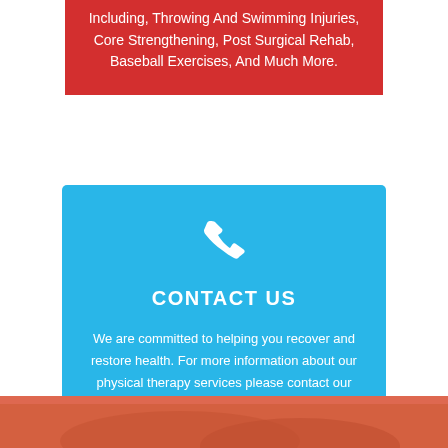Including, Throwing And Swimming Injuries, Core Strengthening, Post Surgical Rehab, Baseball Exercises, And Much More.
[Figure (illustration): White phone/telephone handset icon on blue background]
CONTACT US
We are committed to helping you recover and restore health. For more information about our physical therapy services please contact our office in Philadelphia at (267) 332-8102
[Figure (photo): Partial photo at bottom of page showing skin/body closeup in warm tones]